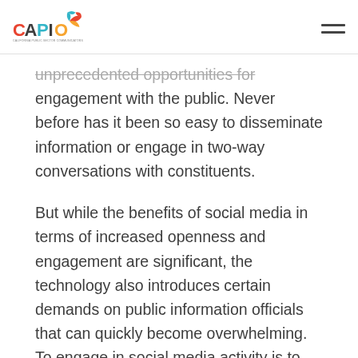CAPIO logo and navigation menu
unprecedented opportunities for engagement with the public. Never before has it been so easy to disseminate information or engage in two-way conversations with constituents.
But while the benefits of social media in terms of increased openness and engagement are significant, the technology also introduces certain demands on public information officials that can quickly become overwhelming. To engage in social media activity is to open the door to countless rapid interactions that are all governed by the